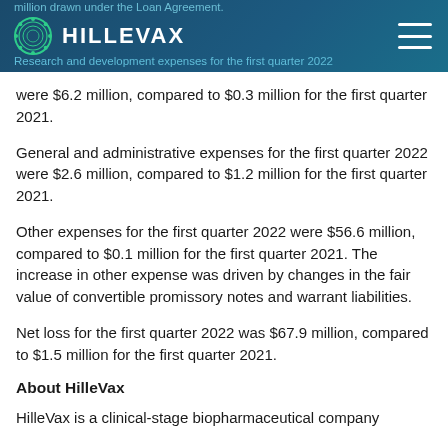million drawn under the Loan Agreement.
HILLEVAX
Research and development expenses for the first quarter 2022
were $6.2 million, compared to $0.3 million for the first quarter 2021.
General and administrative expenses for the first quarter 2022 were $2.6 million, compared to $1.2 million for the first quarter 2021.
Other expenses for the first quarter 2022 were $56.6 million, compared to $0.1 million for the first quarter 2021. The increase in other expense was driven by changes in the fair value of convertible promissory notes and warrant liabilities.
Net loss for the first quarter 2022 was $67.9 million, compared to $1.5 million for the first quarter 2021.
About HilleVax
HilleVax is a clinical-stage biopharmaceutical company